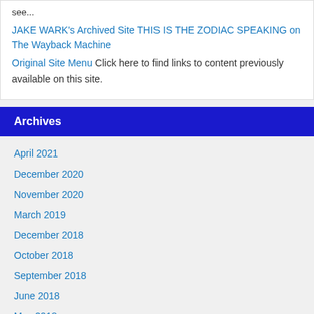see...
JAKE WARK's Archived Site THIS IS THE ZODIAC SPEAKING on The Wayback Machine
Original Site Menu Click here to find links to content previously available on this site.
Archives
April 2021
December 2020
November 2020
March 2019
December 2018
October 2018
September 2018
June 2018
May 2018
November 2017
October 2017